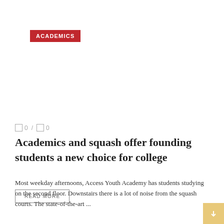ACADEMICS
0 / 0
Academics and squash offer founding students a new choice for college
Most weekday afternoons, Access Youth Academy has students studying on the second floor. Downstairs there is a lot of noise from the squash courts. The state-of-the-art ...
READ MORE